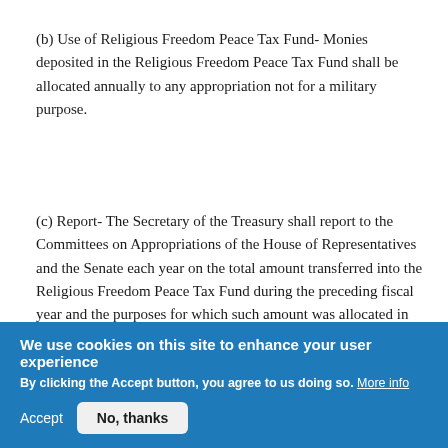(b) Use of Religious Freedom Peace Tax Fund- Monies deposited in the Religious Freedom Peace Tax Fund shall be allocated annually to any appropriation not for a military purpose.
(c) Report- The Secretary of the Treasury shall report to the Committees on Appropriations of the House of Representatives and the Senate each year on the total amount transferred into the Religious Freedom Peace Tax Fund during the preceding fiscal year and the purposes for which such amount was allocated in such preceding fiscal year. Such report shall be prin[Privacy settings]ssional Record upon
We use cookies on this site to enhance your user experience
By clicking the Accept button, you agree to us doing so. More info